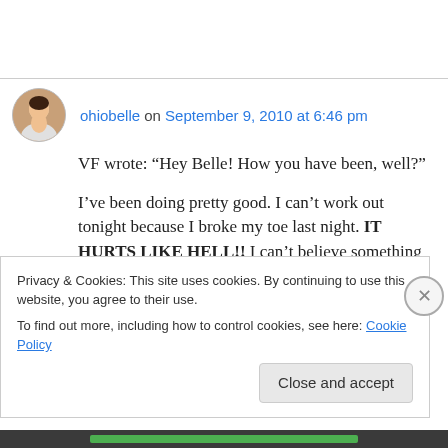[Figure (photo): Circular avatar photo of a person (ohiobelle)]
ohiobelle on September 9, 2010 at 6:46 pm
VF wrote: “Hey Belle! How you have been, well?”

I’ve been doing pretty good. I can’t work out tonight because I broke my toe last night. IT HURTS LIKE HELL!! I can’t believe something so small can HURT THIS BAD!! HAHA
Privacy & Cookies: This site uses cookies. By continuing to use this website, you agree to their use.
To find out more, including how to control cookies, see here: Cookie Policy
Close and accept